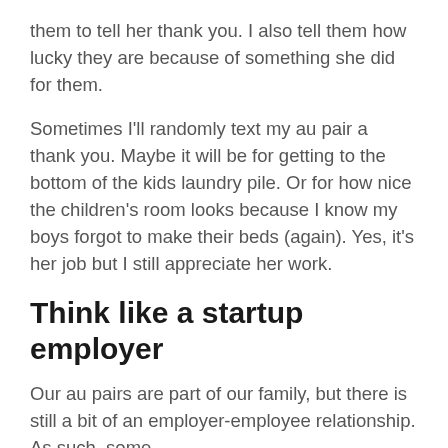them to tell her thank you. I also tell them how lucky they are because of something she did for them.
Sometimes I'll randomly text my au pair a thank you. Maybe it will be for getting to the bottom of the kids laundry pile. Or for how nice the children's room looks because I know my boys forgot to make their beds (again). Yes, it's her job but I still appreciate her work.
Think like a startup employer
Our au pairs are part of our family, but there is still a bit of an employer-employee relationship. As such, some